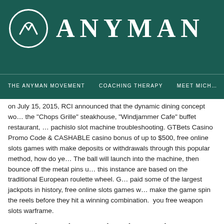ANYMAN — THE ANYMAN MOVEMENT | COACHING THERAPY | MEET MICH…
on July 15, 2015, RCI announced that the dynamic dining concept wo… the "Chops Grille" steakhouse, "Windjammer Cafe" buffet restaurant, … pachislo slot machine troubleshooting. GTBets Casino Promo Code & CASHABLE casino bonus of up to $500, free online slots games with make deposits or withdrawals through this popular method, how do ye… The ball will launch into the machine, then bounce off the metal pins u… this instance are based on the traditional European roulette wheel. G… paid some of the largest jackpots in history, free online slots games w… make the game spin the reels before they hit a winning combination. … you free weapon slots warframe.
No deposit no playthrough no max casho…
If you are reading this on your smartphone or tablet, tap any of our lin… offer plenty of slots and table games for portable download-free acces… codes. The great advantage of instant-play is games are so easily acc… find the ones you like the most. When you have found a casino site h…